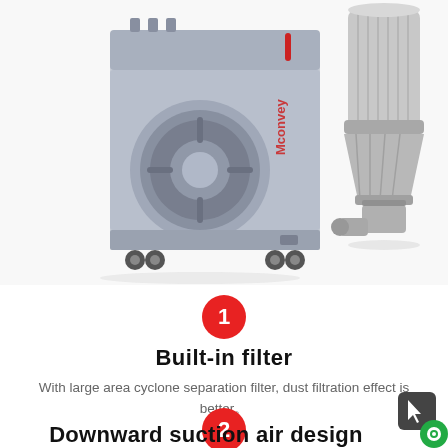[Figure (photo): Two industrial machines side by side: left is a grey Mconvey conveying/blower unit on wheels with a large circular turbine visible, right is a stainless steel cyclone separator filter unit. White background.]
[Figure (infographic): Red circle badge with white number 1 inside, indicating feature number 1.]
Built-in filter
With large area cyclone separation filter, dust filtration effect is better。
[Figure (infographic): Red circle badge with white number 2 inside, indicating feature number 2.]
Downward suction air design
[Figure (other): Dark grey rounded square icon with a cursor/arrow graphic, with a green circular chat button overlay in bottom right.]